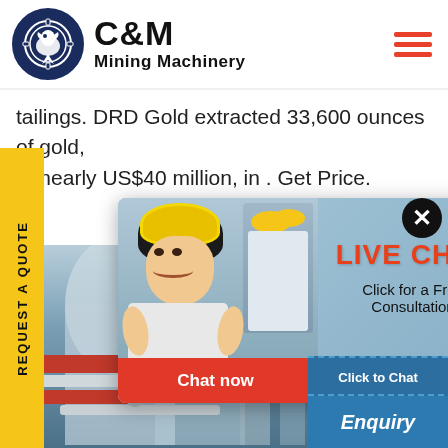[Figure (logo): C&M Mining Machinery logo with eagle in gear circle]
tailings. DRD Gold extracted 33,600 ounces of gold, th nearly US$40 million, in . Get Price.
[Figure (screenshot): Website screenshot showing REQUEST A QUOTE sidebar, industrial background, LIVE CHAT popup with worker photo, Chat now and Chat later buttons, and customer service agent with Click to Chat and Enquiry panels on right side]